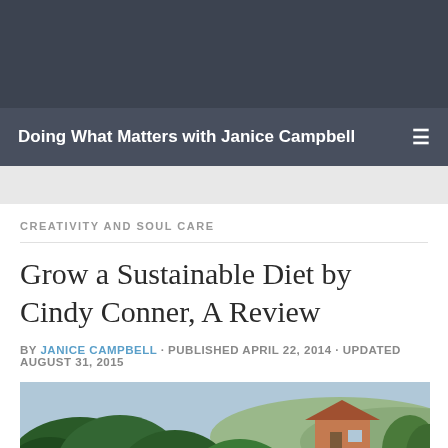Doing What Matters with Janice Campbell
CREATIVITY AND SOUL CARE
Grow a Sustainable Diet by Cindy Conner, A Review
BY JANICE CAMPBELL · PUBLISHED APRIL 22, 2014 · UPDATED AUGUST 31, 2015
[Figure (photo): Outdoor landscape photo showing dense green trees in foreground with a house and hills visible in the background]